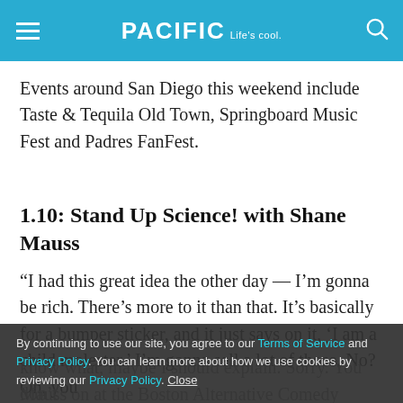PACIFIC Life's cool.
Events around San Diego this weekend include Taste & Tequila Old Town, Springboard Music Fest and Padres FanFest.
1.10: Stand Up Science! with Shane Mauss
“I had this great idea the other day — I’m gonna be rich. There’s more to it than that. It’s basically for a bumper sticker, and it just says on it, ‘I am a child molester.’ I’m gonna sell a lot of those. No? Oh, you know what, maybe I should explain. Sorry. You don’t
Mauss on at the Boston Alternative Comedy Festival
By continuing to use our site, you agree to our Terms of Service and Privacy Policy. You can learn more about how we use cookies by reviewing our Privacy Policy. Close